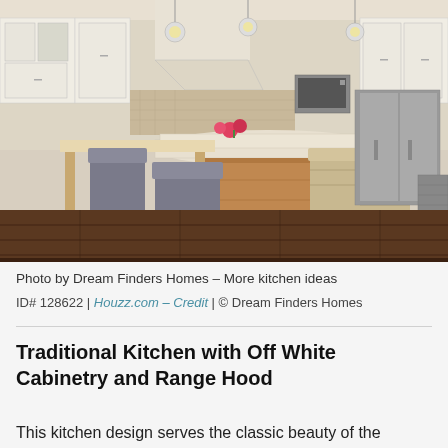[Figure (photo): Interior photo of a traditional kitchen with off-white cabinetry, a large kitchen island with wooden base and light stone countertop, bar stools including gray upholstered and wicker chairs, hardwood floors, pendant lighting, and stainless steel appliances.]
Photo by Dream Finders Homes – More kitchen ideas
ID# 128622 | Houzz.com – Credit | © Dream Finders Homes
Traditional Kitchen with Off White Cabinetry and Range Hood
This kitchen design serves the classic beauty of the traditional style! The off-white cabinets, travertine